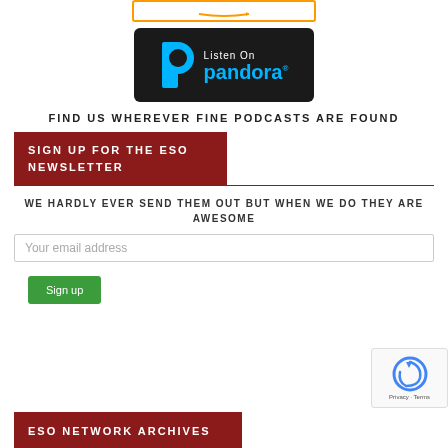[Figure (logo): Amazon Music badge - partial at top of page]
[Figure (logo): Listen On Pandora badge - black background with blue P logo and pandora text in blue]
FIND US WHEREVER FINE PODCASTS ARE FOUND
SIGN UP FOR THE ESO NEWSLETTER
WE HARDLY EVER SEND THEM OUT BUT WHEN WE DO THEY ARE AWESOME
Your email address
Sign up
[Figure (logo): reCAPTCHA badge with Privacy and Terms]
ESO NETWORK ARCHIVES